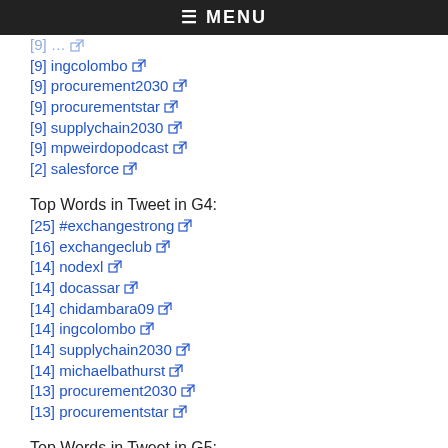≡ MENU
[9] ingcolombo
[9] procurement2030
[9] procurementstar
[9] supplychain2030
[9] mpweirdopodcast
[2] salesforce
Top Words in Tweet in G4:
[25] #exchangestrong
[16] exchangeclub
[14] nodexl
[14] docassar
[14] chidambara09
[14] ingcolombo
[14] supplychain2030
[14] michaelbathurst
[13] procurement2030
[13] procurementstar
Top Words in Tweet in G5:
[4] dr
[4] jacksonexchange
[4] jmcschools
[4] #jacksontn
[3] #exchangestrong